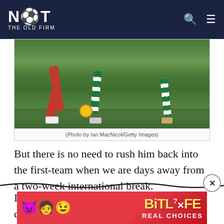NOT THE OLD FIRM
[Figure (photo): Soccer players' legs during a match, with red and green/white hooped socks, and a yellow ball on green grass pitch]
(Photo by Ian MacNicol/Getty Images)
But there is no need to rush him back into the first-team when we are days away from a two-week international break.
It makes more sense to delay McKenna's comeback until the first fixture after the break, which will b…